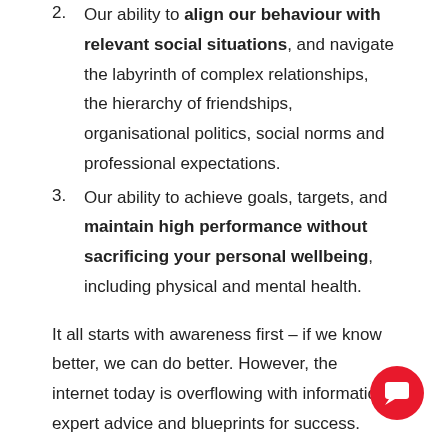2. Our ability to align our behaviour with relevant social situations, and navigate the labyrinth of complex relationships, the hierarchy of friendships, organisational politics, social norms and professional expectations.
3. Our ability to achieve goals, targets, and maintain high performance without sacrificing your personal wellbeing, including physical and mental health.
It all starts with awareness first – if we know better, we can do better. However, the internet today is overflowing with information, expert advice and blueprints for success.
But don't be fooled. Knowing is not enough, we must apply. The problem is that while we think of ourselves as...